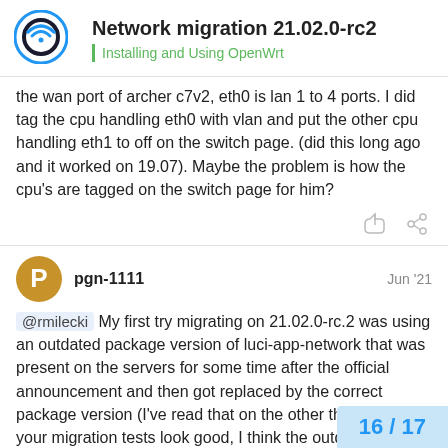Network migration 21.02.0-rc2 | Installing and Using OpenWrt
the wan port of archer c7v2, eth0 is lan 1 to 4 ports. I did tag the cpu handling eth0 with vlan and put the other cpu handling eth1 to off on the switch page. (did this long ago and it worked on 19.07). Maybe the problem is how the cpu's are tagged on the switch page for him?
pgn-1111  Jun '21
@rmilecki My first try migrating on 21.02.0-rc.2 was using an outdated package version of luci-app-network that was present on the servers for some time after the official announcement and then got replaced by the correct package version (I've read that on the other thread.). If your migration tests look good, I think the outdated package version is the culprit
16 / 17